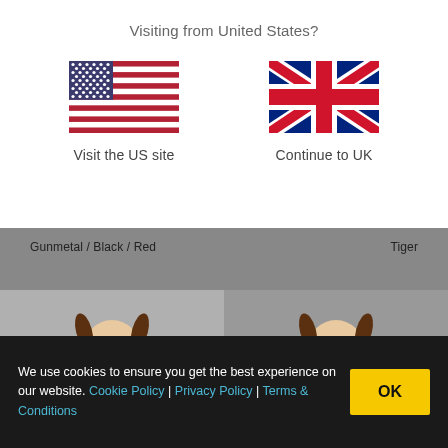Visiting from United States?
[Figure (illustration): US flag icon]
Visit the US site
[Figure (illustration): UK flag icon]
Continue to UK
Gunmetal / Black / Red
Tiger
[Figure (photo): Child wearing Gunmetal/Black/Red product]
[Figure (photo): Child wearing Tiger product]
We use cookies to ensure you get the best experience on our website. Cookie Policy | Privacy Policy | Terms & Conditions